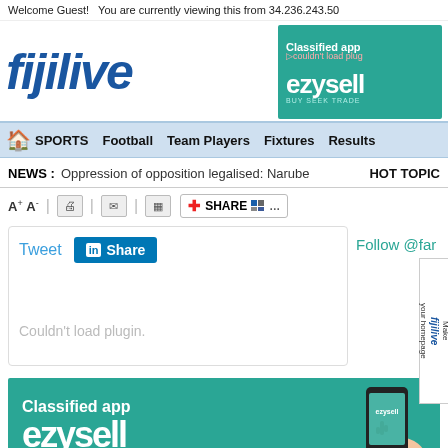Welcome Guest!   You are currently viewing this from 34.236.243.50
[Figure (logo): FijiLive logo in bold blue italic text]
[Figure (screenshot): Ezysell Classified app advertisement banner - teal background with phone image]
SPORTS  Football  Team Players  Fixtures  Results
NEWS :  Oppression of opposition legalised: Narube  HOT TOPIC
[Figure (screenshot): Social sharing toolbar with font size buttons, print, email, share buttons including Tweet and LinkedIn Share, and plugin error message saying Couldn't load plugin.]
[Figure (infographic): Ezysell Classified app banner advertisement - teal background with phone showing app and ezysell logo]